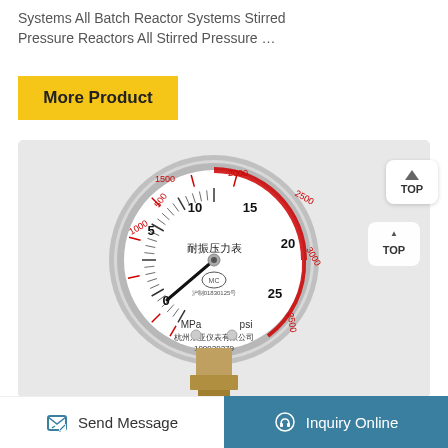Systems All Batch Reactor Systems Stirred Pressure Reactors All Stirred Pressure …
More Product
[Figure (photo): Close-up photograph of a pressure gauge (耐振压力表) showing dual scales: inner black scale 0-25 MPa and outer red scale 0-3500 psi, with the needle pointing near 0. The gauge face shows Chinese text '耐振压力表', 'MC' certification mark, serial number 沪制01830125号, manufacturer '杭州东亚仪表有限公司', phone '190929279'. The gauge has a stainless steel case with a brass fitting at the bottom, mounted on a white panel with a 'TOP' button visible on the right side.]
Send Message
Inquiry Online